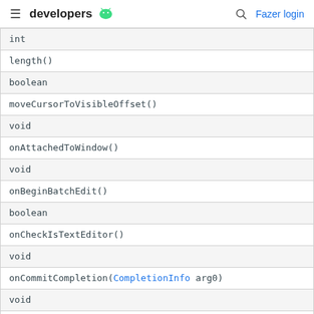developers [android logo] | [search] Fazer login
| int |
| length() |
| boolean |
| moveCursorToVisibleOffset() |
| void |
| onAttachedToWindow() |
| void |
| onBeginBatchEdit() |
| boolean |
| onCheckIsTextEditor() |
| void |
| onCommitCompletion(CompletionInfo arg0) |
| void |
| onCommitCorrection(CorrectionInfo arg0) |